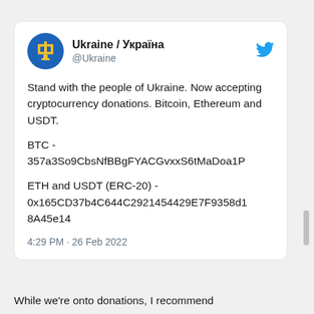[Figure (screenshot): Ukraine official Twitter/X account profile picture: blue circle with yellow Ukrainian trident (tryzub) emblem]
Ukraine / Україна
@Ukraine
Stand with the people of Ukraine. Now accepting cryptocurrency donations. Bitcoin, Ethereum and USDT.

BTC -
357a3So9CbsNfBBgFYACGvxxS6tMaDoa1P

ETH and USDT (ERC-20) -
0x165CD37b4C644C2921454429E7F9358d18A45e14
4:29 PM · 26 Feb 2022
While we're onto donations, I recommend